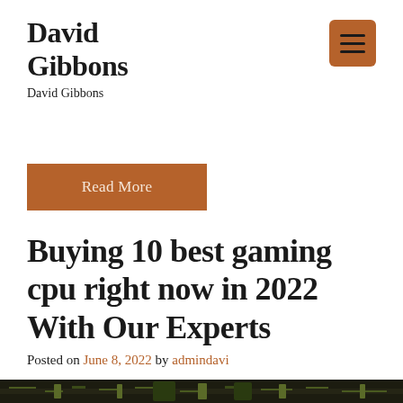David Gibbons
David Gibbons
[Figure (other): Brown hamburger/menu button icon]
Read More
Buying 10 best gaming cpu right now in 2022 With Our Experts
Posted on June 8, 2022 by admindavi
[Figure (photo): Partial image of a green PCB circuit board at the bottom of the page]